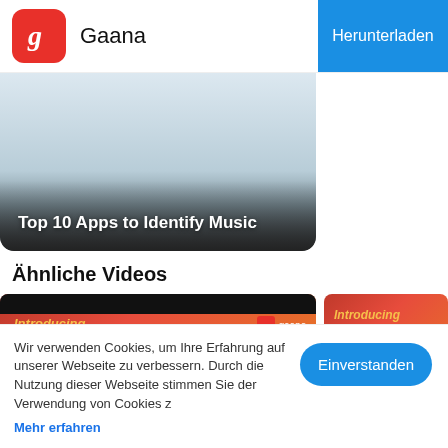Gaana  Herunterladen
[Figure (screenshot): Top 10 Apps to Identify Music - article thumbnail with gray gradient]
Ähnliche Videos
[Figure (screenshot): Gaana app promotional video thumbnail with Introducing text, phone icon, people cards, and play button]
[Figure (screenshot): Gaana app second promotional video thumbnail partial]
Wir verwenden Cookies, um Ihre Erfahrung auf unserer Webseite zu verbessern. Durch die Nutzung dieser Webseite stimmen Sie der Verwendung von Cookies zu.
Mehr erfahren